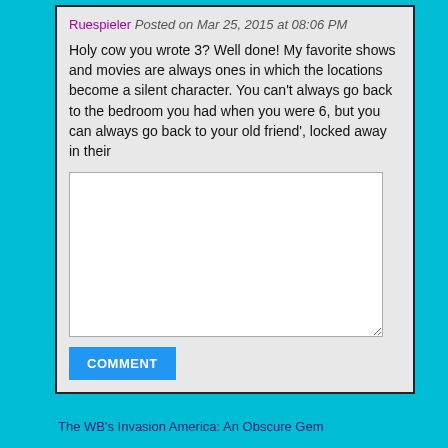Ruespieler Posted on Mar 25, 2015 at 08:06 PM
Holy cow you wrote 3? Well done! My favorite shows and movies are always ones in which the locations become a silent character. You can't always go back to the bedroom you had when you were 6, but you can always go back to your old friend', locked away in their
COMMENT
The WB's Invasion America: An Obscure Gem